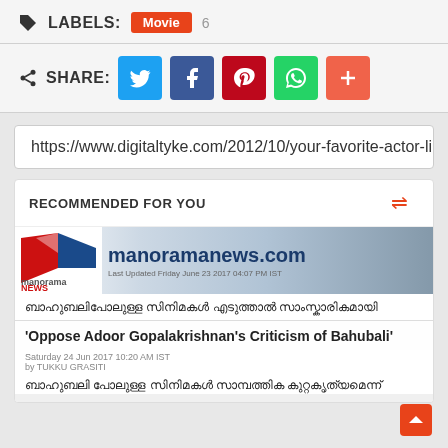LABELS: Movie 6
SHARE: [Twitter] [Facebook] [Pinterest] [WhatsApp] [More]
https://www.digitaltyke.com/2012/10/your-favorite-actor-li
RECOMMENDED FOR YOU
[Figure (screenshot): Manorama News website screenshot showing a Malayalam article about Bahubali with overlay text: Oppose Adoor Gopalakrishnan's Criticism of Bahubali]